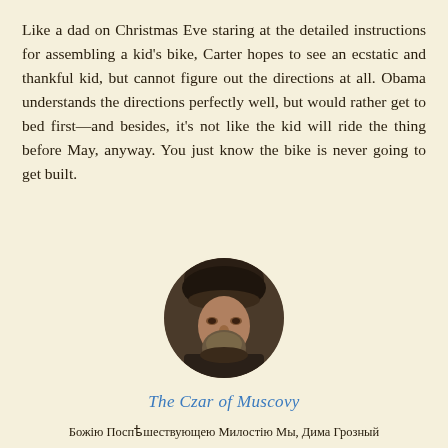Like a dad on Christmas Eve staring at the detailed instructions for assembling a kid’s bike, Carter hopes to see an ecstatic and thankful kid, but cannot figure out the directions at all. Obama understands the directions perfectly well, but would rather get to bed first—and besides, it’s not like the kid will ride the thing before May, anyway. You just know the bike is never going to get built.
[Figure (photo): Circular portrait photo of a bearded man wearing a large fur hat, dressed in dark historical clothing, appearing to be a medieval Russian or Eastern European figure.]
The Czar of Muscovy
Божію Поспѣшествующею Милостію Мы, Дима Грозный